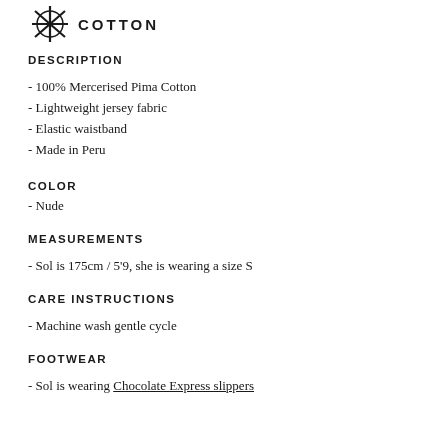[Figure (logo): Decorative star/asterisk logo with text COTTON beside it]
DESCRIPTION
- 100% Mercerised Pima Cotton
- Lightweight jersey fabric
- Elastic waistband
- Made in Peru
COLOR
- Nude
MEASUREMENTS
- Sol is 175cm / 5'9, she is wearing a size S
CARE INSTRUCTIONS
- Machine wash gentle cycle
FOOTWEAR
- Sol is wearing Chocolate Express slippers